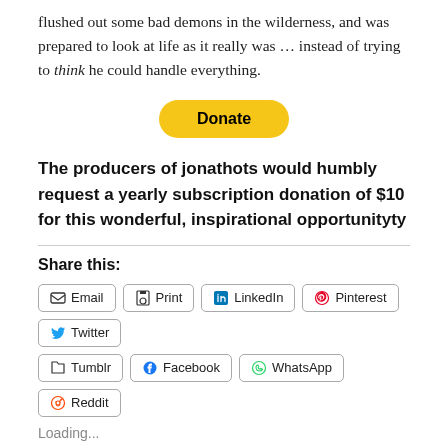flushed out some bad demons in the wilderness, and was prepared to look at life as it really was … instead of trying to think he could handle everything.
[Figure (other): Yellow PayPal Donate button]
The producers of jonathots would humbly request a yearly subscription donation of $10 for this wonderful, inspirational opportunityty
Share this:
Email  Print  LinkedIn  Pinterest  Twitter  Tumblr  Facebook  WhatsApp  Reddit
Loading...